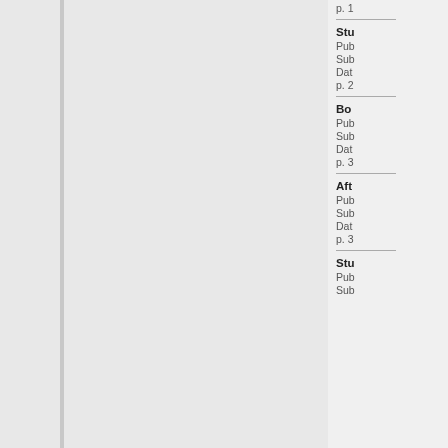p. 1
Stu
Pub
Sub
Dat
p. 2
Bo
Pub
Sub
Dat
p. 3
Aft
Pub
Sub
Dat
p. 3
Stu
Pub
Sub